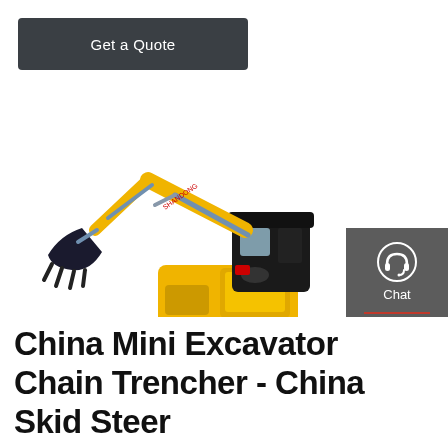Get a Quote
[Figure (photo): Yellow mini excavator with chain trencher attachment, shown on white background. The excavator has a yellow body with black boom arm and bucket, rubber tracks, and an operator cab.]
[Figure (infographic): Right sidebar with dark gray background showing three contact options: Chat (headset icon), Email (envelope icon), Contact (speech bubble icon), separated by red horizontal dividers.]
China Mini Excavator Chain Trencher - China Skid Steer